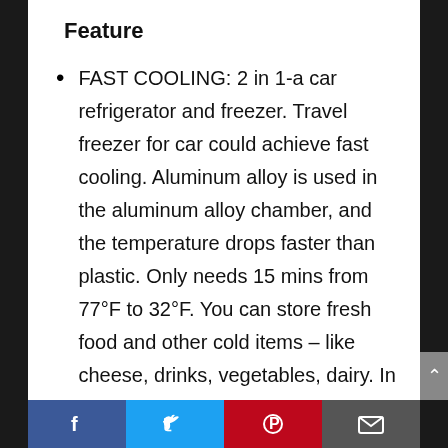Feature
FAST COOLING: 2 in 1-a car refrigerator and freezer. Travel freezer for car could achieve fast cooling. Aluminum alloy is used in the aluminum alloy chamber, and the temperature drops faster than plastic. Only needs 15 mins from 77°F to 32°F. You can store fresh food and other cold items – like cheese, drinks, vegetables, dairy. In vocation, a portable car freezer can fast provide you with cool drinks and beer.